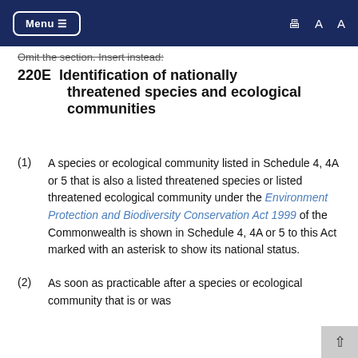Menu ☰   🖨 A A
Omit the section. Insert instead:
220E   Identification of nationally threatened species and ecological communities
(1)  A species or ecological community listed in Schedule 4, 4A or 5 that is also a listed threatened species or listed threatened ecological community under the Environment Protection and Biodiversity Conservation Act 1999 of the Commonwealth is shown in Schedule 4, 4A or 5 to this Act marked with an asterisk to show its national status.
(2)  As soon as practicable after a species or ecological community that is or was